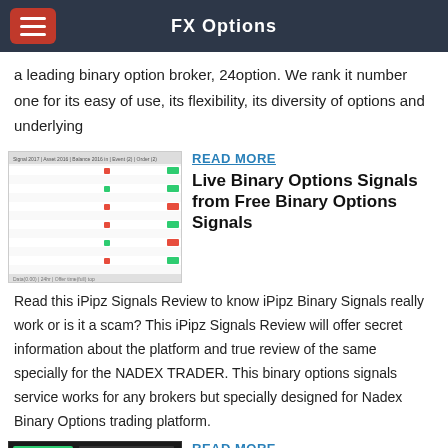FX Options
a leading binary option broker, 24option. We rank it number one for its easy of use, its flexibility, its diversity of options and underlying
[Figure (screenshot): Screenshot of a binary options trading table/spreadsheet with green and red indicators]
READ MORE
Live Binary Options Signals from Free Binary Options Signals
Read this iPipz Signals Review to know iPipz Binary Signals really work or is it a scam? This iPipz Signals Review will offer secret information about the platform and true review of the same specially for the NADEX TRADER. This binary options signals service works for any brokers but specially designed for Nadex Binary Options trading platform.
[Figure (screenshot): Screenshot of a dark-themed binary options trading platform with charts]
READ MORE
FREE Binary Options Signals...